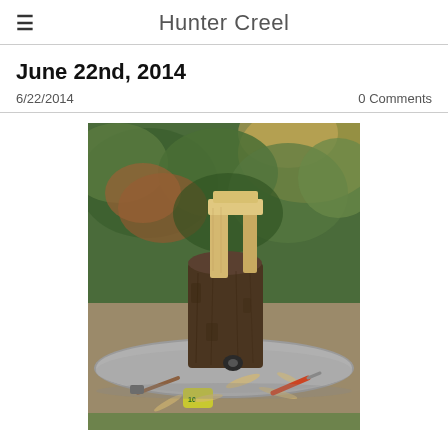Hunter Creel
June 22nd, 2014
6/22/2014
0 Comments
[Figure (photo): A wooden log with a handmade wooden handle/cradle fitted on top, sitting on a stone table outdoors. Woodworking tools, wood shavings, a tape measure, and a hammer are scattered on the table. Green trees and foliage are visible in the background.]